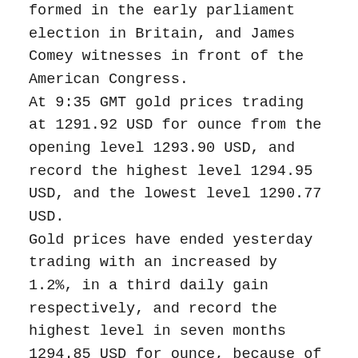formed in the early parliament election in Britain, and James Comey witnesses in front of the American Congress. At 9:35 GMT gold prices trading at 1291.92 USD for ounce from the opening level 1293.90 USD, and record the highest level 1294.95 USD, and the lowest level 1290.77 USD. Gold prices have ended yesterday trading with an increased by 1.2%, in a third daily gain respectively, and record the highest level in seven months 1294.85 USD for ounce, because of USD decreasing, additional to an acceleration in buying assets operations as a safe haven.  The gold prices last week has achieved increasing by 0.9%, in a third weekly gain respectively, because of investment demand acceleration, at the same time with backing down the probability of increasing the